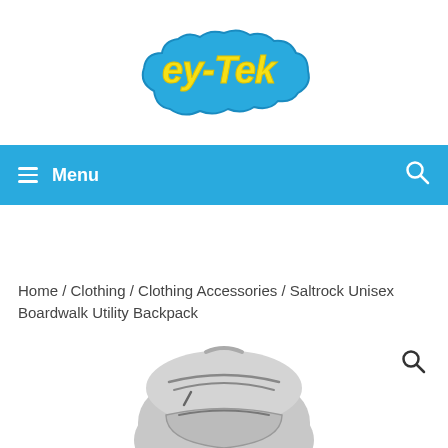[Figure (logo): ey-Tek logo with yellow text and blue cloud-like outline]
≡ Menu
Home / Clothing / Clothing Accessories / Saltrock Unisex Boardwalk Utility Backpack
[Figure (photo): Grey Saltrock Unisex Boardwalk Utility Backpack, showing the top and front zipper pockets]